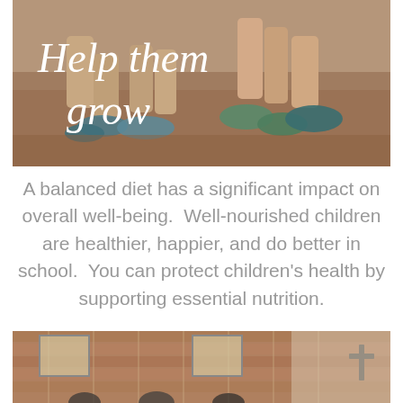[Figure (photo): Photo of children's feet sitting on dirt ground, some wearing sandals and shoes, with text overlay 'Help them grow' in white serif font]
A balanced diet has a significant impact on overall well-being.  Well-nourished children are healthier, happier, and do better in school.  You can protect children's health by supporting essential nutrition.
[Figure (photo): Photo of a brick church interior with windows and a cross on the wall, with people seated inside]